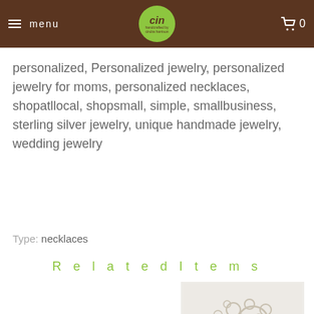menu | [logo: cin/silver jewelry] | 0
personalized, Personalized jewelry, personalized jewelry for moms, personalized necklaces, shopatllocal, shopsmall, simple, smallbusiness, sterling silver jewelry, unique handmade jewelry, wedding jewelry
Type: necklaces
Related Items
[Figure (photo): A piece of handmade jewelry featuring multiple circular rings and loops arranged in a cluster with pendant elements, photographed on a light background.]